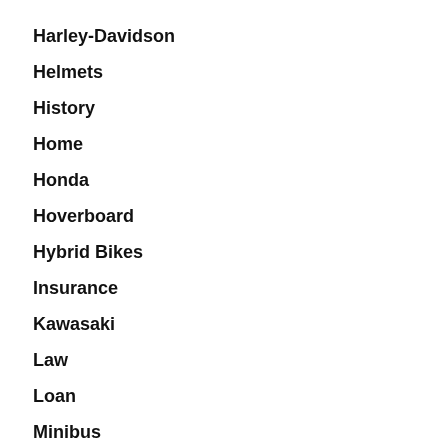Harley-Davidson
Helmets
History
Home
Honda
Hoverboard
Hybrid Bikes
Insurance
Kawasaki
Law
Loan
Minibus
Motorcycle
Mountain Bikes
News